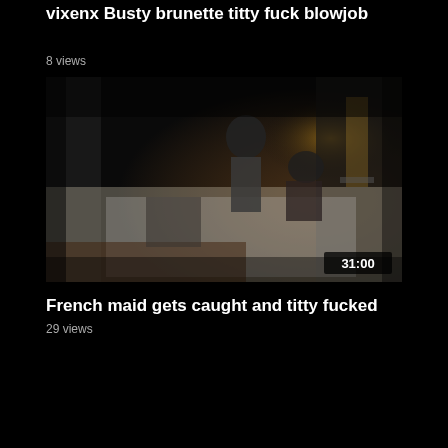vixenx Busty brunette titty fuck blowjob
8 views
[Figure (screenshot): Dark video thumbnail showing two people on a bed in a dimly lit room with curtains and a lamp in the background. Duration overlay shows 31:00 in bottom right corner.]
French maid gets caught and titty fucked
29 views